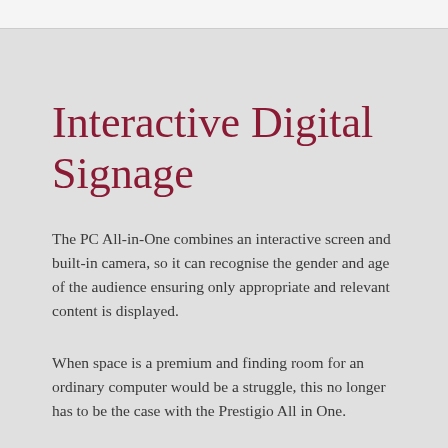Interactive Digital Signage
The PC All-in-One combines an interactive screen and built-in camera, so it can recognise the gender and age of the audience ensuring only appropriate and relevant content is displayed.
When space is a premium and finding room for an ordinary computer would be a struggle, this no longer has to be the case with the Prestigio All in One.